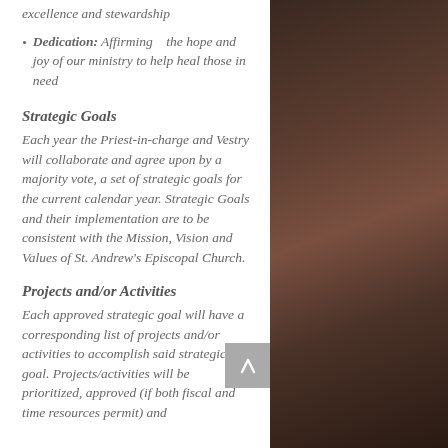excellence and stewardship
Dedication: Affirming    the hope and joy of our ministry to help heal those in need
Strategic Goals
Each year the Priest-in-charge and Vestry will collaborate and agree upon by a majority vote, a set of strategic goals for the current calendar year. Strategic Goals and their implementation are to be consistent with the Mission, Vision and Values of St. Andrew's Episcopal Church.
Projects and/or Activities
Each approved strategic goal will have a corresponding list of projects and/or activities to accomplish said strategic goal. Projects/activities will be prioritized, approved (if both fiscal and time resources permit) and